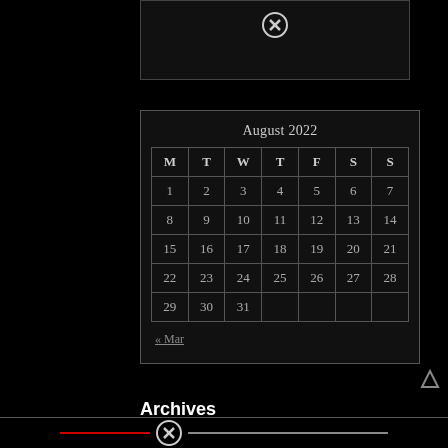[Figure (other): Top bar widget with close (X) button]
| M | T | W | T | F | S | S |
| --- | --- | --- | --- | --- | --- | --- |
| 1 | 2 | 3 | 4 | 5 | 6 | 7 |
| 8 | 9 | 10 | 11 | 12 | 13 | 14 |
| 15 | 16 | 17 | 18 | 19 | 20 | 21 |
| 22 | 23 | 24 | 25 | 26 | 27 | 28 |
| 29 | 30 | 31 |  |  |  |  |
« Mar
Archives